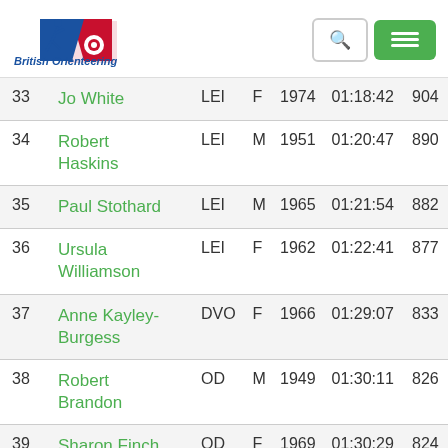[Figure (logo): British Orienteering logo with runner and navigation figure, text 'British Orienteering' in blue italic]
| # | Name | Club | Sex | Year | Time | Score |
| --- | --- | --- | --- | --- | --- | --- |
| 33 | Jo White | LEI | F | 1974 | 01:18:42 | 904 |
| 34 | Robert Haskins | LEI | M | 1951 | 01:20:47 | 890 |
| 35 | Paul Stothard | LEI | M | 1965 | 01:21:54 | 882 |
| 36 | Ursula Williamson | LEI | F | 1962 | 01:22:41 | 877 |
| 37 | Anne Kayley-Burgess | DVO | F | 1966 | 01:29:07 | 833 |
| 38 | Robert Brandon | OD | M | 1949 | 01:30:11 | 826 |
| 39 | Sharon Finch | OD | F | 1969 | 01:30:29 | 824 |
| 40 | Nick Taylor | HOC | M | 1948 | 01:31:50 | 815 |